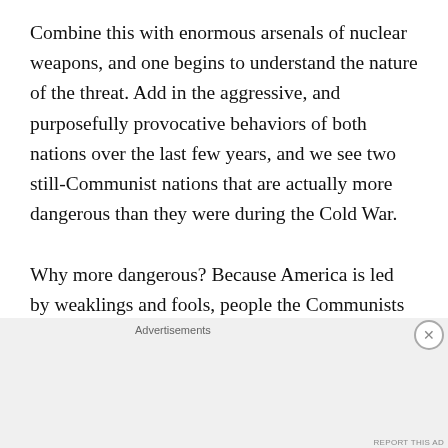Combine this with enormous arsenals of nuclear weapons, and one begins to understand the nature of the threat. Add in the aggressive, and purposefully provocative behaviors of both nations over the last few years, and we see two still-Communist nations that are actually more dangerous than they were during the Cold War.

Why more dangerous? Because America is led by weaklings and fools, people the Communists know they can play like violins from Hell. What makes the span from now until January so uniquely dangerous is both Russia
[Figure (screenshot): DuckDuckGo advertisement banner with orange background. Text reads 'Search, browse, and email with more privacy. All in One Free App'. Shows a smartphone with DuckDuckGo logo.]